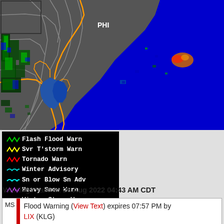[Figure (map): NEXRAD radar map showing coastal Mid-Atlantic region (Philadelphia area labeled 'PHI') with green/blue radar returns over land, orange county/state boundary outlines, dark gray land areas, and blue ocean. Some scattered radar returns visible offshore.]
[Figure (infographic): Legend box on black background listing weather warning types with colored zigzag line icons: green Flash Flood Warn, yellow Svr T'storm Warn, red Tornado Warn, teal Winter Advisory, cyan Sn or Blow Sn Adv, purple Heavy Snow Warn, pink Winter Storm Warn, hot-pink Ice/Frz/Sleet Warn, dark-red Blizzard Warn]
Warnings Valid at: 28 Aug 2022 04:43 AM CDT
MS | Flood Warning (View Text) expires 07:57 PM by LIX (KLG)